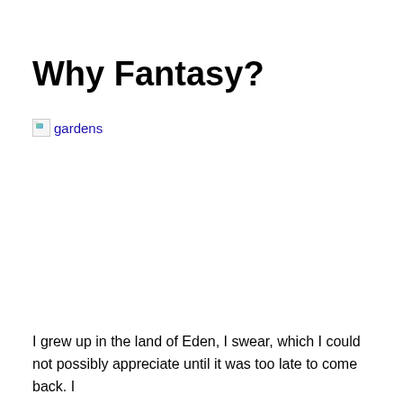Why Fantasy?
[Figure (other): Broken image placeholder with alt text 'gardens', displayed as a linked image thumbnail]
I grew up in the land of Eden, I swear, which I could not possibly appreciate until it was too late to come back. I
[Figure (other): Broken image placeholder with alt text 'grazing-dairy-cattle', displayed as a linked image thumbnail]
grew up on what was for its